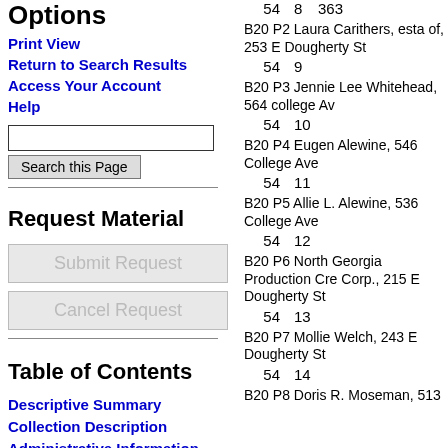Options
Print View
Return to Search Results
Access Your Account
Help
Request Material
Table of Contents
Descriptive Summary
Collection Description
Administrative Information
54  8  363
54  9  B20 P2 Laura Carithers, esta of, 253 E Dougherty St
54  10  B20 P3 Jennie Lee Whitehead, 564 college Av
54  11  B20 P4 Eugene Alewine, 546 College Ave
54  12  B20 P5 Allie L. Alewine, 536 College Ave
54  13  B20 P6 North Georgia Production Cre Corp., 215 E Dougherty St
54  14  B20 P7 Mollie Welch, 243 E Dougherty St
54  14  B20 P8 Doris R. Moseman, 513...